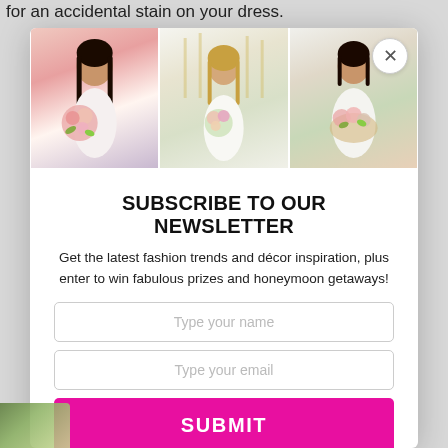for an accidental stain on your dress.
[Figure (photo): Three wedding/bridal photos side by side: woman with bouquet, bride with flowers, woman with floral arrangement]
SUBSCRIBE TO OUR NEWSLETTER
Get the latest fashion trends and décor inspiration, plus enter to win fabulous prizes and honeymoon getaways!
Type your name
Type your email
SUBMIT